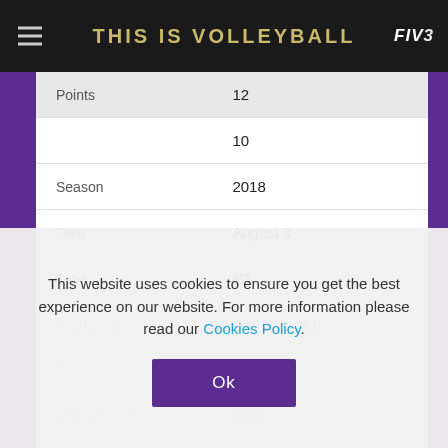THIS IS VOLLEYBALL
| Points | 12 |
|  | 10 |
| Season | 2018 |
| Date | August 3 |
| Type | NT |
| Tournament | Gdansk (PL) |
| Rank | 3 |
| Free Vols. USS | 0.00 |
This website uses cookies to ensure you get the best experience on our website. For more information please read our Cookies Policy.